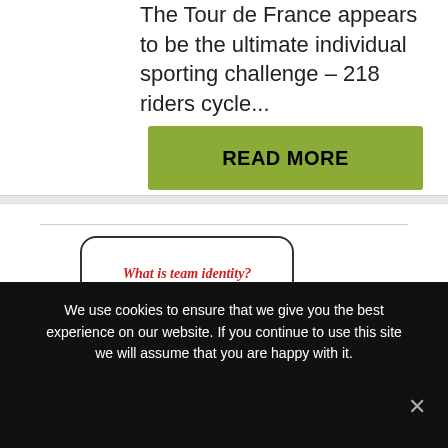The Tour de France appears to be the ultimate individual sporting challenge – 218 riders cycle...
READ MORE
[Figure (illustration): Speech bubble reading 'What is team identity?' above two illustrated figures, with bold red text overlay 'SEE OUR ADVICE TO THE FA IN 2016!']
We use cookies to ensure that we give you the best experience on our website. If you continue to use this site we will assume that you are happy with it.